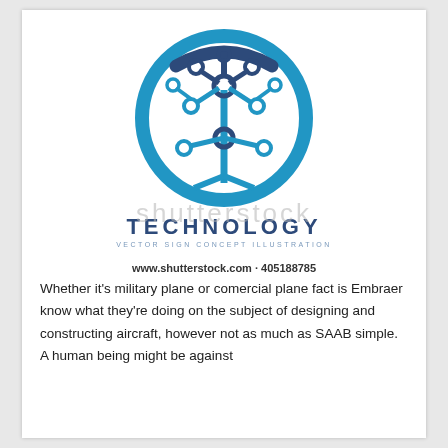[Figure (logo): Technology circuit tree logo: a blue circle containing a stylized tree made of circuit board traces and nodes (circles), with a dark blue indented top arc. The tree has a central trunk with branches ending in circular nodes, all in blue tones.]
TECHNOLOGY
VECTOR SIGN CONCEPT ILLUSTRATION
www.shutterstock.com · 405188785
Whether it's military plane or comercial plane fact is Embraer know what they're doing on the subject of designing and constructing aircraft, however not as much as SAAB simple. A human being might be against